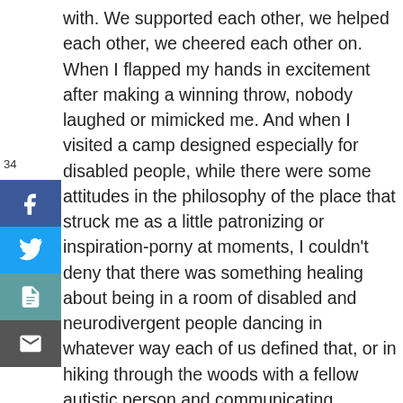with. We supported each other, we helped each other, we cheered each other on. When I flapped my hands in excitement after making a winning throw, nobody laughed or mimicked me. And when I visited a camp designed especially for disabled people, while there were some attitudes in the philosophy of the place that struck me as a little patronizing or inspiration-porny at moments, I couldn't deny that there was something healing about being in a room of disabled and neurodivergent people dancing in whatever way each of us defined that, or in hiking through the woods with a fellow autistic person and communicating nonverbally without anyone breaking the comfortable silence. The moments I spent in the company of other disabled people –